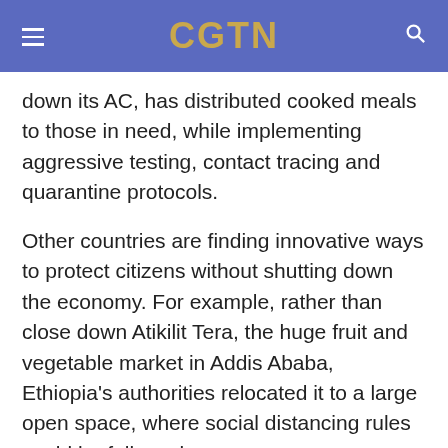CGTN
down its AC, has distributed cooked meals to those in need, while implementing aggressive testing, contact tracing and quarantine protocols.
Other countries are finding innovative ways to protect citizens without shutting down the economy. For example, rather than close down Atikilit Tera, the huge fruit and vegetable market in Addis Ababa, Ethiopia's authorities relocated it to a large open space, where social distancing rules could be followed.
There is still a lot we don't know about COVID-19 – a reality that should inspire both